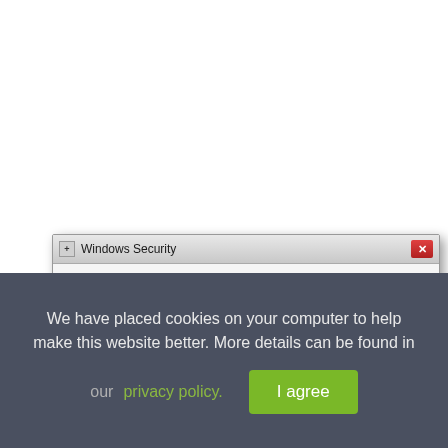[Figure (screenshot): Windows Security dialog box asking 'Would you like to install this device software?' with Name: NVIDIA GeForce GT 120M and Publisher: NVIDIA, showing a monitor icon and a red X close button in the title bar.]
We have placed cookies on your computer to help make this website better. More details can be found in our privacy policy.